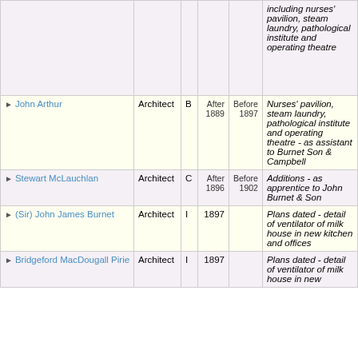| Name | Role | Grade | After | Before | Description |
| --- | --- | --- | --- | --- | --- |
|  |  |  |  |  | including nurses' pavilion, steam laundry, pathological institute and operating theatre |
| John Arthur | Architect | B | After 1889 | Before 1897 | Nurses' pavilion, steam laundry, pathological institute and operating theatre - as assistant to Burnet Son & Campbell |
| Stewart McLauchlan | Architect | C | After 1896 | Before 1902 | Additions - as apprentice to John Burnet & Son |
| (Sir) John James Burnet | Architect | I | 1897 |  | Plans dated - detail of ventilator of milk house in new kitchen and offices |
| Bridgeford MacDougall Pirie | Architect | I | 1897 |  | Plans dated - detail of ventilator of milk house in new |